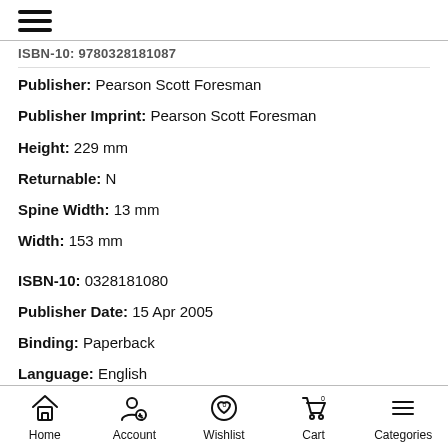☰ (hamburger menu)
ISBN-10: 9780328181087 (partial, truncated)
Publisher: Pearson Scott Foresman
Publisher Imprint: Pearson Scott Foresman
Height: 229 mm
Returnable: N
Spine Width: 13 mm
Width: 153 mm
ISBN-10: 0328181080
Publisher Date: 15 Apr 2005
Binding: Paperback
Language: English
Series Title: English
Weight: 110 gr
Home  Account  Wishlist  Cart  Categories